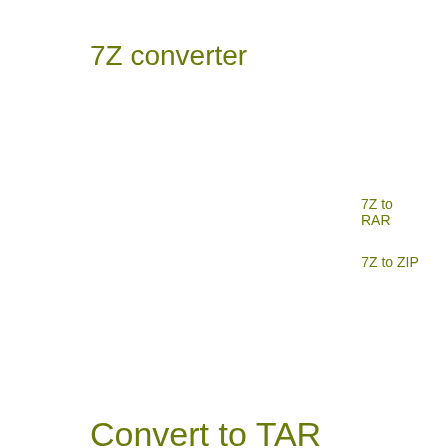7Z converter
7Z to RAR
7Z to ZIP
Convert to TAR
IMG to TAR
RAR to TAR
ZIP to TAR